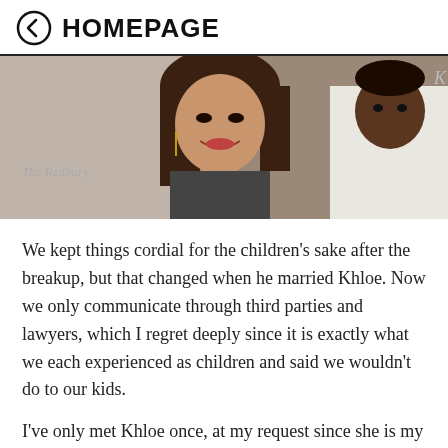← HOMEPAGE
[Figure (photo): Photo of a woman with long brown hair smiling at an event, with a man in white beside her. Text on backdrop reads 'The Redbury'. Partial letter 'K' visible top right.]
We kept things cordial for the children's sake after the breakup, but that changed when he married Khloe. Now we only communicate through third parties and lawyers, which I regret deeply since it is exactly what we each experienced as children and said we wouldn't do to our kids.
I've only met Khloe once, at my request since she is my children's stepmother and I felt it was important to get a sense of her and what she's like around my children. It